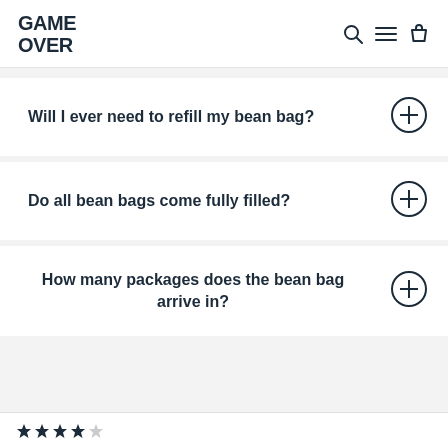GAME OVER
Will I ever need to refill my bean bag?
Do all bean bags come fully filled?
How many packages does the bean bag arrive in?